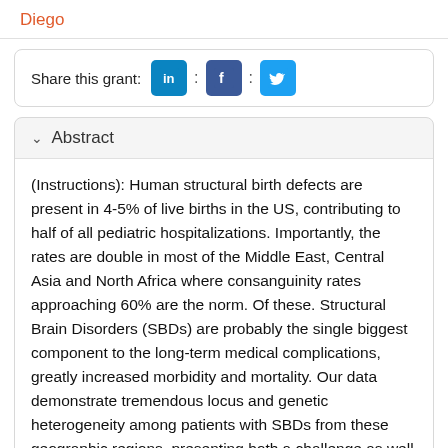Diego
Share this grant: [LinkedIn] : [Facebook] : [Twitter]
Abstract
(Instructions): Human structural birth defects are present in 4-5% of live births in the US, contributing to half of all pediatric hospitalizations. Importantly, the rates are double in most of the Middle East, Central Asia and North Africa where consanguinity rates approaching 60% are the norm. Of these. Structural Brain Disorders (SBDs) are probably the single biggest component to the long-term medical complications, greatly increased morbidity and mortality. Our data demonstrate tremendous locus and genetic heterogeneity among patients with SBDs from these geographic regions, presenting both a challenge as well as an opportunity. The challenge is that due to extreme